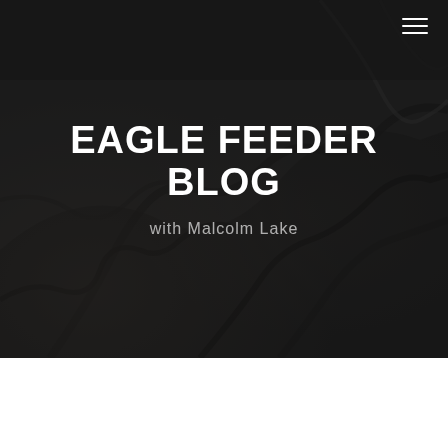[Figure (photo): Dark hero banner with tree/branch background texture in dark grey/black tones]
EAGLE FEEDER BLOG
with Malcolm Lake
March 18, 2020